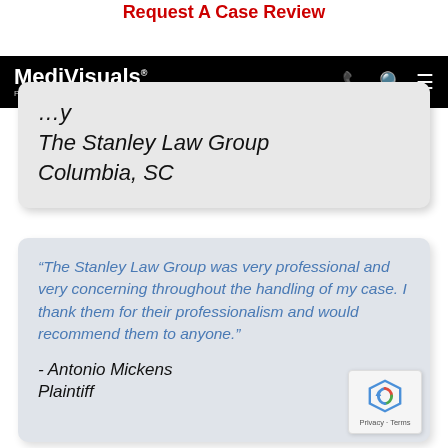Request A Case Review
[Figure (logo): MediVisuals logo with tagline 'Powerful visuals for every phase of litigation' on black navigation bar with red phone icon, search icon, and white menu icon]
The Stanley Law Group
Columbia, SC
“The Stanley Law Group was very professional and very concerning throughout the handling of my case. I thank them for their professionalism and would recommend them to anyone.”

- Antonio Mickens
Plaintiff